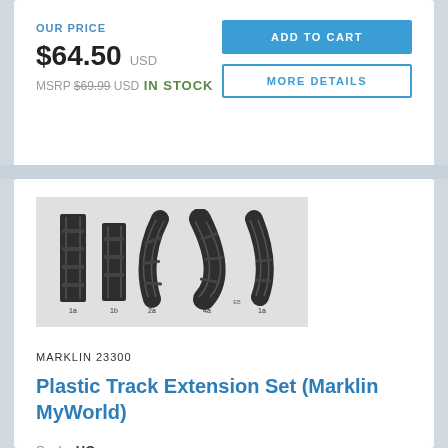OUR PRICE
$64.50 USD
MSRP $69.99 USD
IN STOCK
ADD TO CART
MORE DETAILS
[Figure (photo): Five plastic model train track sections on a light gray background, varying in shape from straight to curved pieces. Small labels visible beneath each piece.]
MARKLIN 23300
Plastic Track Extension Set (Marklin MyWorld)
Scale: HO